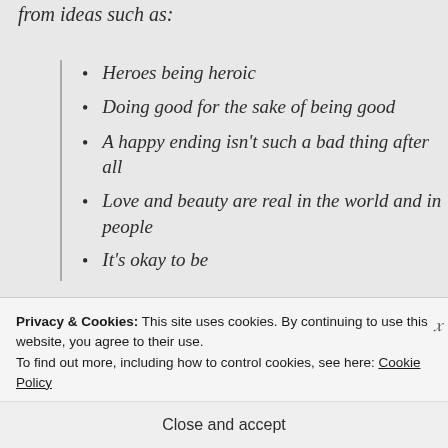from ideas such as:
Heroes being heroic
Doing good for the sake of being good
A happy ending isn't such a bad thing after all
Love and beauty are real in the world and in people
It's okay to be
Privacy & Cookies: This site uses cookies. By continuing to use this website, you agree to their use.
To find out more, including how to control cookies, see here: Cookie Policy
Close and accept